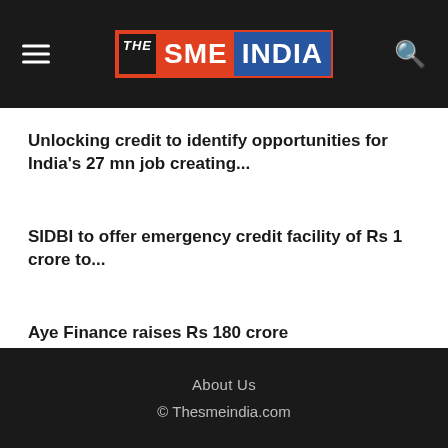THE SME INDIA
Unlocking credit to identify opportunities for India's 27 mn job creating...
SIDBI to offer emergency credit facility of Rs 1 crore to...
Aye Finance raises Rs 180 crore
About Us
© Thesmeindia.com